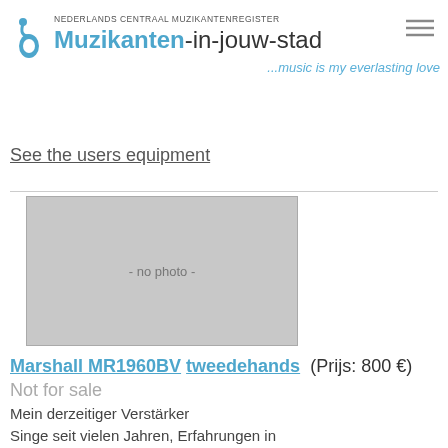NEDERLANDS CENTRAAL MUZIKANTENREGISTER Muzikanten-in-jouw-stad
...music is my everlasting love
See the users equipment
[Figure (photo): No photo placeholder - grey rectangle with text '- no photo -']
Marshall MR1960BV tweedehands (Prijs: 800 €) Not for sale
Mein derzeitiger Verstärker
Singe seit vielen Jahren, Erfahrungen in